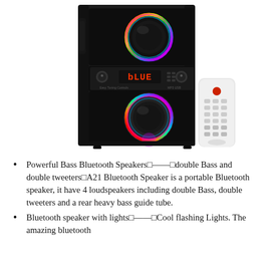[Figure (photo): A black Bluetooth speaker system with two large round RGB LED-illuminated woofers and a control panel displaying 'bLUE' in red LED, alongside a white TV-style remote control, on a white background.]
Powerful Bass Bluetooth Speakers□——□double Bass and double tweeters□A21 Bluetooth Speaker is a portable Bluetooth speaker, it have 4 loudspeakers including double Bass, double tweeters and a rear heavy bass guide tube.
Bluetooth speaker with lights□——□Cool flashing Lights. The amazing bluetooth...